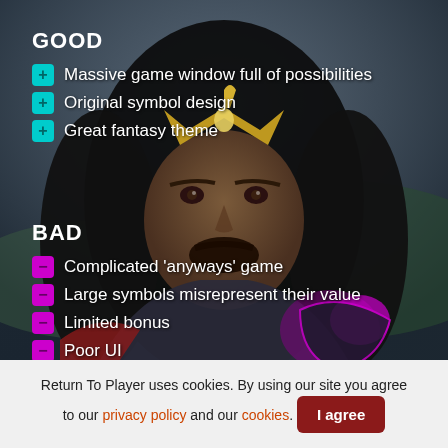GOOD
Massive game window full of possibilities
Original symbol design
Great fantasy theme
BAD
Complicated 'anyways' game
Large symbols misrepresent their value
Limited bonus
Poor UI
[Figure (illustration): Dark fantasy king character with crown and long dark hair, against a moody sky background, holding a shield with a magenta/purple glow]
Return To Player uses cookies. By using our site you agree to our privacy policy and our cookies.
I agree